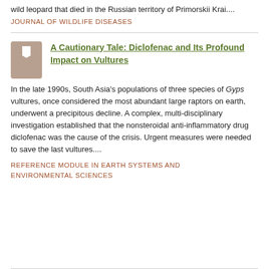wild leopard that died in the Russian territory of Primorskii Krai....
JOURNAL OF WILDLIFE DISEASES
A Cautionary Tale: Diclofenac and Its Profound Impact on Vultures
In the late 1990s, South Asia's populations of three species of Gyps vultures, once considered the most abundant large raptors on earth, underwent a precipitous decline. A complex, multi-disciplinary investigation established that the nonsteroidal anti-inflammatory drug diclofenac was the cause of the crisis. Urgent measures were needed to save the last vultures....
REFERENCE MODULE IN EARTH SYSTEMS AND ENVIRONMENTAL SCIENCES